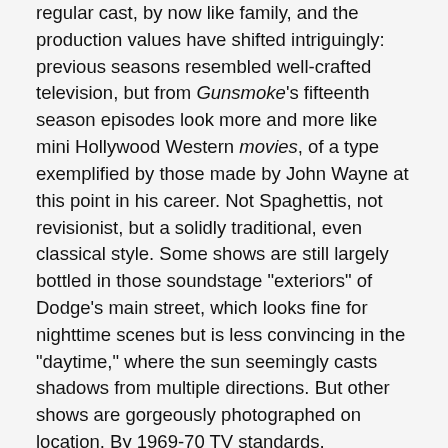regular cast, by now like family, and the production values have shifted intriguingly: previous seasons resembled well-crafted television, but from Gunsmoke's fifteenth season episodes look more and more like mini Hollywood Western movies, of a type exemplified by those made by John Wayne at this point in his career. Not Spaghettis, not revisionist, but a solidly traditional, even classical style. Some shows are still largely bottled in those soundstage "exteriors" of Dodge's main street, which looks fine for nighttime scenes but is less convincing in the "daytime," where the sun seemingly casts shadows from multiple directions. But other shows are gorgeously photographed on location. By 1969-70 TV standards, Gunsmoke looks more expensive than other shows, and it appears its producers budgeted carefully to allow for some lavishness here and there.
This is especially astounding when one compares late-'60s Gunsmoke to TV production methods today. A current show like Westworld costs $8-10 million per episode, with ten episodes per season. Gunsmoke in the late-1960s probably cost in the region of $175,000 per episode, and the 25 episode...